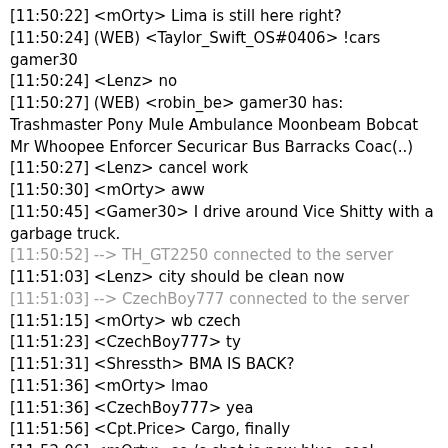[11:50:22] <mOrty> Lima is still here right?
[11:50:24] (WEB) <Taylor_Swift_OS#0406> !cars gamer30
[11:50:24] <Lenz> no
[11:50:27] (WEB) <robin_be> gamer30 has: Trashmaster Pony Mule Ambulance Moonbeam Bobcat Mr Whoopee Enforcer Securicar Bus Barracks Coac(..)
[11:50:27] <Lenz> cancel work
[11:50:30] <mOrty> aww
[11:50:45] <Gamer30> I drive around Vice Shitty with a garbage truck.
[11:50:52] --> TH_GT2250 connected to the server
[11:51:03] <Lenz> city should be clean now
[11:51:03] --> CzechBoy777 connected to the server
[11:51:15] <mOrty> wb czech
[11:51:23] <CzechBoy777> ty
[11:51:31] <Shressth> BMA IS BACK?
[11:51:36] <mOrty> lmao
[11:51:36] <CzechBoy777> yea
[11:51:56] <Cpt.Price> Cargo, finally
[11:52:06] <mOrty> so /c chat is now blue, cool
[11:52:14] <CzechBoy777> delta international is now sky base ? lol
[11:52:16] <Lenz> yes
[11:52:24] <CzechBoy777> lol
[11:52:32] <Lenz> sky is baseless rn